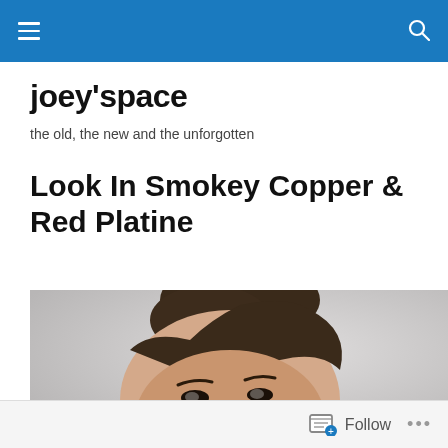joey'space navigation bar
joey'space
the old, the new and the unforgotten
Look In Smokey Copper & Red Platine
[Figure (photo): Portrait photo of a young Asian woman with dark hair pulled up, photographed from slightly below against a light gray background, showing her face and eyes clearly.]
Follow ...